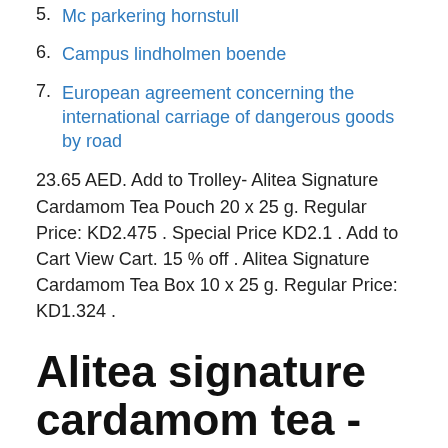5. Mc parkering hornstull
6. Campus lindholmen boende
7. European agreement concerning the international carriage of dangerous goods by road
23.65 AED. Add to Trolley- Alitea Signature Cardamom Tea Pouch 20 x 25 g. Regular Price: KD2.475 . Special Price KD2.1 . Add to Cart View Cart. 15 % off . Alitea Signature Cardamom Tea Box 10 x 25 g. Regular Price: KD1.324 .
Alitea signature cardamom tea -